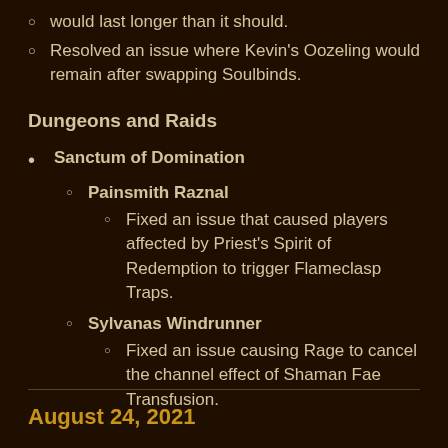would last longer than it should.
Resolved an issue where Kevin's Oozeling would remain after swapping Soulbinds.
Dungeons and Raids
Sanctum of Domination
Painsmith Raznal
Fixed an issue that caused players affected by Priest's Spirit of Redemption to trigger Flameclasp Traps.
Sylvanas Windrunner
Fixed an issue causing Rage to cancel the channel effect of Shaman Fae Transfusion.
August 24, 2021